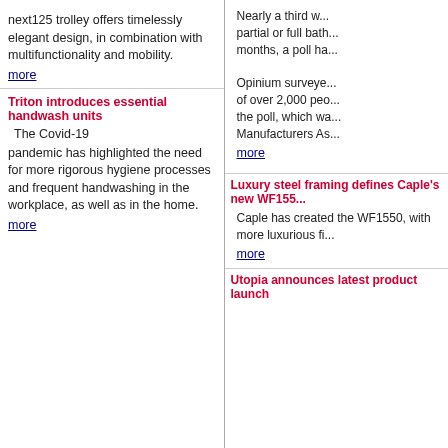[Figure (photo): next125 trolley with bottles on top, black wheeled bar cart]
next125 trolley offers timelessly elegant design, in combination with multifunctionality and mobility.
more
Triton introduces essential handwash units
[Figure (photo): White handwash unit mounted on wall, dispenser, sink]
The Covid-19
pandemic has highlighted the need for more rigorous hygiene processes and frequent handwashing in the workplace, as well as in the home.
more
[Figure (photo): Man in suit smiling, portrait photo]
Nearly a third w... partial or full bath... months, a poll ha...
Opinium surveye... of over 2,000 peo... the poll, which wa... Manufacturers As...
more
Luxury steel framing defines Caple’s new WF155...
[Figure (photo): Green-framed wine fridge in a room setting with plants and clock]
Caple has created the WF1550, with more luxurious fi...
more
Utopia announces latest product launch
[Figure (photo): Tall dark bathroom furniture units with lighting]